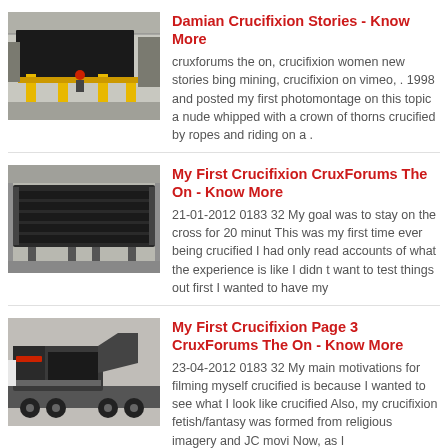[Figure (photo): Industrial machine/equipment in a factory setting with yellow supports and a large black metal plate]
Damian Crucifixion Stories - Know More
cruxforums the on, crucifixion women new stories bing mining, crucifixion on vimeo, . 1998 and posted my first photomontage on this topic a nude whipped with a crown of thorns crucified by ropes and riding on a .
[Figure (photo): Large industrial vibrating screen or sieve machine in a factory]
My First Crucifixion CruxForums The On - Know More
21-01-2012 0183 32 My goal was to stay on the cross for 20 minut This was my first time ever being crucified I had only read accounts of what the experience is like I didn t want to test things out first I wanted to have my
[Figure (photo): Large mobile crushing or mining machine on a truck/trailer]
My First Crucifixion Page 3 CruxForums The On - Know More
23-04-2012 0183 32 My main motivations for filming myself crucified is because I wanted to see what I look like crucified Also, my crucifixion fetish/fantasy was formed from religious imagery and JC movi Now, as I